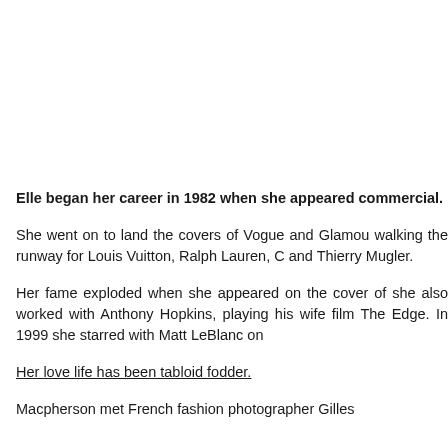Elle began her career in 1982 when she appeared commercial.
She went on to land the covers of Vogue and Glamou walking the runway for Louis Vuitton, Ralph Lauren, C and Thierry Mugler.
Her fame exploded when she appeared on the cover of she also worked with Anthony Hopkins, playing his wife film The Edge. In 1999 she starred with Matt LeBlanc on
Her love life has been tabloid fodder.
Macpherson met French fashion photographer Gilles